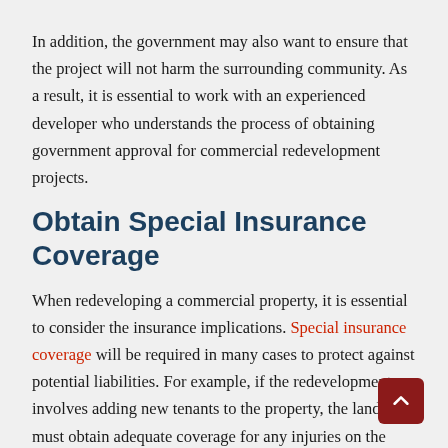In addition, the government may also want to ensure that the project will not harm the surrounding community. As a result, it is essential to work with an experienced developer who understands the process of obtaining government approval for commercial redevelopment projects.
Obtain Special Insurance Coverage
When redeveloping a commercial property, it is essential to consider the insurance implications. Special insurance coverage will be required in many cases to protect against potential liabilities. For example, if the redevelopment involves adding new tenants to the property, the landlord must obtain adequate coverage for any injuries on the premises.